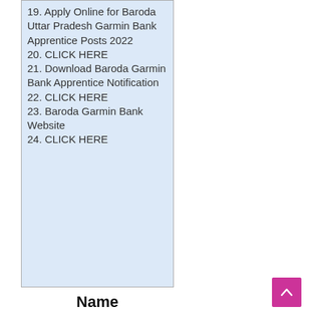19. Apply Online for Baroda Uttar Pradesh Garmin Bank Apprentice Posts 2022
20. CLICK HERE
21. Download Baroda Garmin Bank Apprentice Notification
22. CLICK HERE
23. Baroda Garmin Bank Website
24. CLICK HERE
Name
of Post